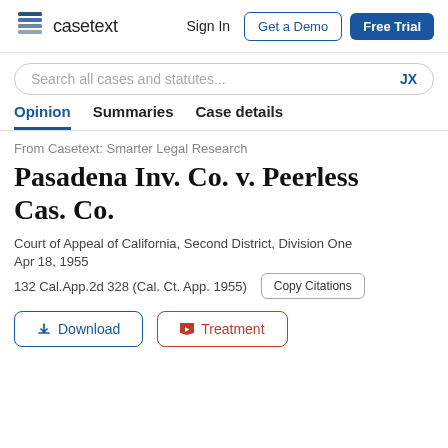casetext  Sign In  Get a Demo  Free Trial
Search all cases and statutes...  JX
Opinion  Summaries  Case details
From Casetext: Smarter Legal Research
Pasadena Inv. Co. v. Peerless Cas. Co.
Court of Appeal of California, Second District, Division One
Apr 18, 1955
132 Cal.App.2d 328 (Cal. Ct. App. 1955)
Download  Treatment